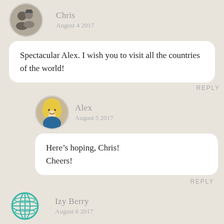Chris
August 4 2017
Spectacular Alex. I wish you to visit all the countries of the world!
REPLY
Alex
August 5 2017
Here’s hoping, Chris! Cheers!
REPLY
Izy Berry
August 6 2017